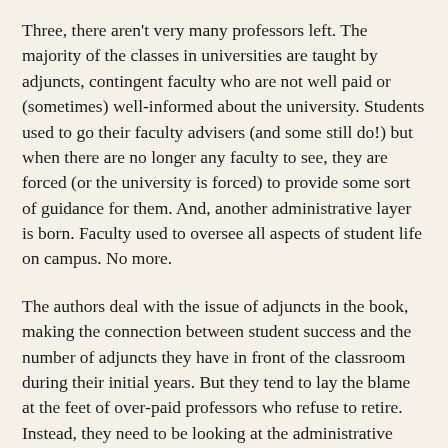Three, there aren't very many professors left. The majority of the classes in universities are taught by adjuncts, contingent faculty who are not well paid or (sometimes) well-informed about the university. Students used to go their faculty advisers (and some still do!) but when there are no longer any faculty to see, they are forced (or the university is forced) to provide some sort of guidance for them. And, another administrative layer is born. Faculty used to oversee all aspects of student life on campus. No more.
The authors deal with the issue of adjuncts in the book, making the connection between student success and the number of adjuncts they have in front of the classroom during their initial years. But they tend to lay the blame at the feet of over-paid professors who refuse to retire. Instead, they need to be looking at the administrative class, the ones who are making the decisions about hiring an increasing amount of adjuncts and an increasing number of themselves. More adjuncts have seem to have lead to more administrators.
Another unexamined phenomenon is that this administrator class is also highly educated. Browse job postings for administrative